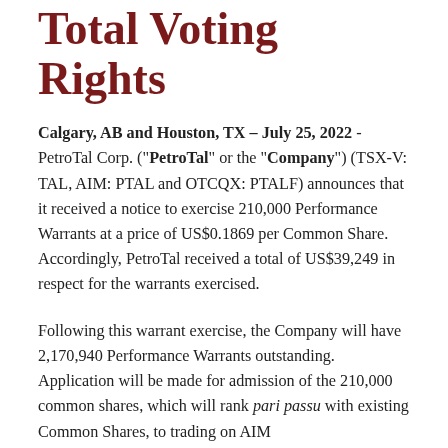Total Voting Rights
Calgary, AB and Houston, TX – July 25, 2022 - PetroTal Corp. ("PetroTal" or the "Company") (TSX-V: TAL, AIM: PTAL and OTCQX: PTALF) announces that it received a notice to exercise 210,000 Performance Warrants at a price of US$0.1869 per Common Share.  Accordingly, PetroTal received a total of US$39,249 in respect for the warrants exercised.
Following this warrant exercise, the Company will have 2,170,940 Performance Warrants outstanding.  Application will be made for admission of the 210,000 common shares, which will rank pari passu with existing Common Shares, to trading on AIM